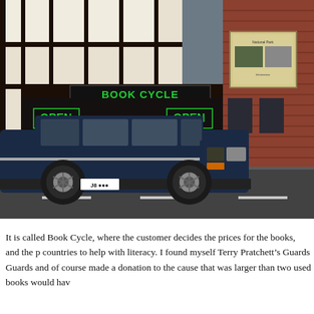[Figure (photo): Photograph of a shop called 'Book Cycle' in a Tudor-style building on a street. A dark navy blue SUV/Jeep is parked in front. The shop has green 'OPEN' signs and a green 'BOOK CYCLE' sign. To the right is a brick building. People are visible near the shop entrance.]
It is called Book Cycle, where the customer decides the prices for the books, and the p countries to help with literacy. I found myself Terry Pratchett’s Guards Guards and of course made a donation to the cause that was larger than two used books would hav